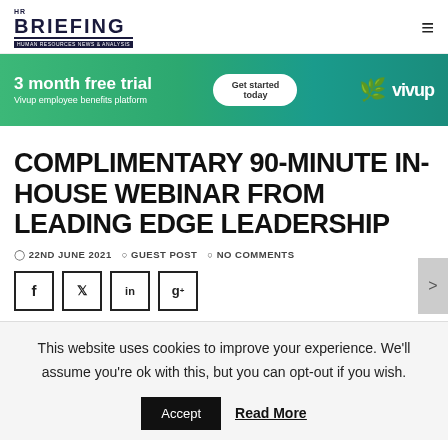HR BRIEFING — HUMAN RESOURCES NEWS & ANALYSIS
[Figure (infographic): Vivup advertisement banner: '3 month free trial — Vivup employee benefits platform — Get started today' with phone image and vivup logo on green gradient background]
COMPLIMENTARY 90-MINUTE IN-HOUSE WEBINAR FROM LEADING EDGE LEADERSHIP
22ND JUNE 2021  GUEST POST  NO COMMENTS
[Figure (infographic): Social share buttons: Facebook (f), Twitter (bird), LinkedIn (in), Google+ (g+)]
This website uses cookies to improve your experience. We'll assume you're ok with this, but you can opt-out if you wish.
Accept  Read More